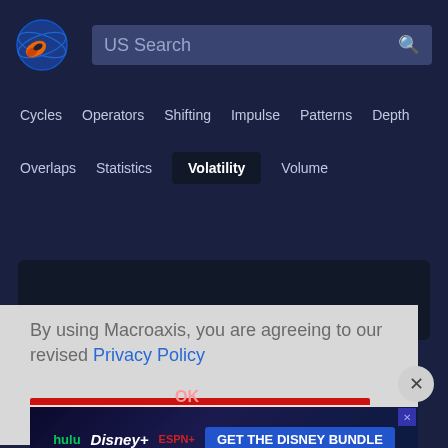[Figure (logo): Macroaxis globe logo — blue/orange circular icon]
US Search
Cycles
Operators
Shifting
Impulse
Patterns
Depth
Overlaps
Statistics
Volatility
Volume
By using Macroaxis, you are agreeing to our revised Privacy Policy
[Figure (screenshot): Advertisement banner: GET THE DISNEY BUNDLE — hulu, Disney+, ESPN+]
OK